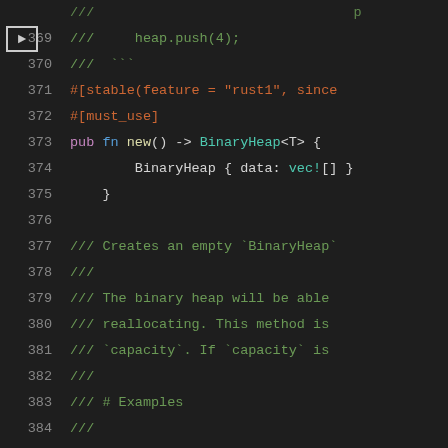[Figure (screenshot): Source code viewer showing Rust code lines 369-387, with syntax highlighting on a dark background. Line 369 shows a doc comment with heap.push(4), line 370 shows ///, lines 371-372 show attributes, lines 373-375 show pub fn new(), lines 376 empty, lines 377-386 show doc comments for a with_capacity function.]